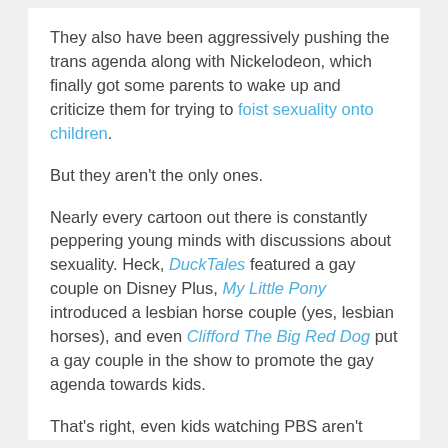They also have been aggressively pushing the trans agenda along with Nickelodeon, which finally got some parents to wake up and criticize them for trying to foist sexuality onto children.
But they aren't the only ones.
Nearly every cartoon out there is constantly peppering young minds with discussions about sexuality. Heck, DucktTales featured a gay couple on Disney Plus, My Little Pony introduced a lesbian horse couple (yes, lesbian horses), and even Clifford The Big Red Dog put a gay couple in the show to promote the gay agenda towards kids.
That's right, even kids watching PBS aren't safe, as evident with the gay rat wedding on Arthur.
It's imperative now more than ever that you watch what your kids are watching, because they are